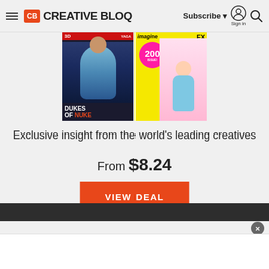Creative Bloq — Subscribe | Sign in | Search
[Figure (photo): Two magazine covers side by side: 3D World with 'Dukes of Nuke' text and ImagingFX 200th issue with pink badge]
Exclusive insight from the world's leading creatives
From $8.24
VIEW DEAL